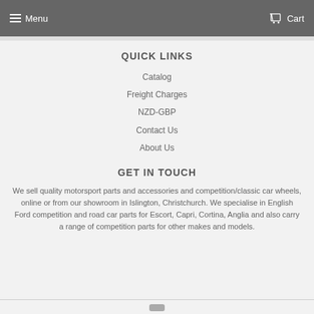Menu  Cart
QUICK LINKS
Catalog
Freight Charges
NZD-GBP
Contact Us
About Us
GET IN TOUCH
We sell quality motorsport parts and accessories and competition/classic car wheels, online or from our showroom in Islington, Christchurch. We specialise in English Ford competition and road car parts for Escort, Capri, Cortina, Anglia and also carry a range of competition parts for other makes and models.